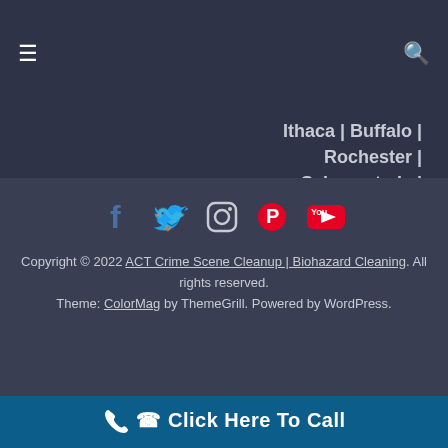≡  [navigation menu] [search icon]
Ithaca | Buffalo | Rochester | Schenectady | Springfield | St joseph | Independence | Henderson | Charleston
[Figure (other): Social media icons row: Facebook (blue f), Twitter (blue bird), Instagram (camera outline), Pinterest (red P), YouTube (red play button)]
Copyright © 2022 ACT Crime Scene Cleanup | Biohazard Cleaning. All rights reserved.
Theme: ColorMag by ThemeGrill. Powered by WordPress.
Click Here To Call